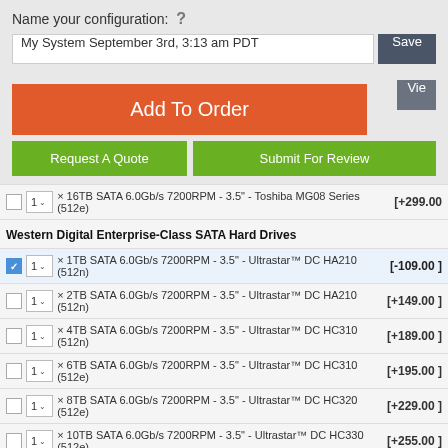Name your configuration:  ?
My System September 3rd, 3:13 am PDT
Save
Vie...
Add To Order
Request A Quote
Submit For Review
1 × 16TB SATA 6.0Gb/s 7200RPM - 3.5" - Toshiba MG08 Series (512e) [+299.00]
Western Digital Enterprise-Class SATA Hard Drives
1 × 1TB SATA 6.0Gb/s 7200RPM - 3.5" - Ultrastar™ DC HA210 (512n) [-109.00]
1 × 2TB SATA 6.0Gb/s 7200RPM - 3.5" - Ultrastar™ DC HA210 (512n) [+149.00]
1 × 4TB SATA 6.0Gb/s 7200RPM - 3.5" - Ultrastar™ DC HC310 (512n) [+189.00]
1 × 6TB SATA 6.0Gb/s 7200RPM - 3.5" - Ultrastar™ DC HC310 (512e) [+195.00]
1 × 8TB SATA 6.0Gb/s 7200RPM - 3.5" - Ultrastar™ DC HC320 (512e) [+229.00]
1 × 10TB SATA 6.0Gb/s 7200RPM - 3.5" - Ultrastar™ DC HC330 (512e) [+255.00]
1 × 12TB SATA 6.0Gb/s 7200RPM - 3.5" - Ultrastar™ DC HC520 (512e) [+319.00]